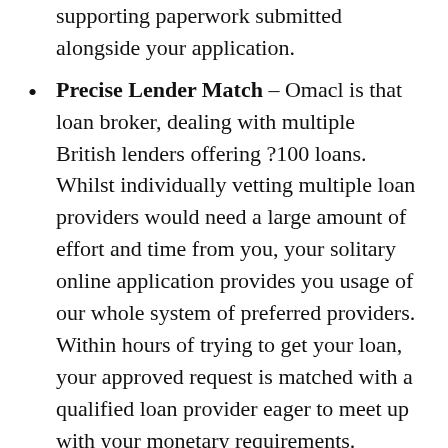supporting paperwork submitted alongside your application.
Precise Lender Match – Omacl is that loan broker, dealing with multiple British lenders offering ?100 loans. Whilst individually vetting multiple loan providers would need a large amount of effort and time from you, your solitary online application provides you usage of our whole system of preferred providers. Within hours of trying to get your loan, your approved request is matched with a qualified loan provider eager to meet up with your monetary requirements.
Cash to Your Account that is current you're matched with a lender and agree to loan terms, the loans are quickly funded. The mortgage profits are moved straight to your